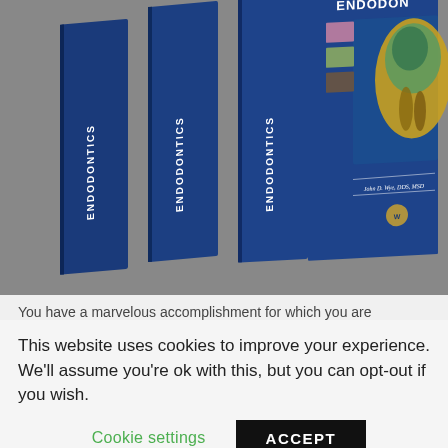[Figure (photo): Three blue hardcover books titled 'Endodontics' stacked/fanned, showing spines with 'ENDODONTICS' text and the front cover of the foremost book featuring a cross-section illustration of a tooth in yellow/green/teal, small inset photos of dental images, and author name 'John D. Wye, DDS, MSD' with a publisher logo at bottom.]
You have a marvelous accomplishment for which you are
This website uses cookies to improve your experience. We'll assume you're ok with this, but you can opt-out if you wish.
Cookie settings   ACCEPT